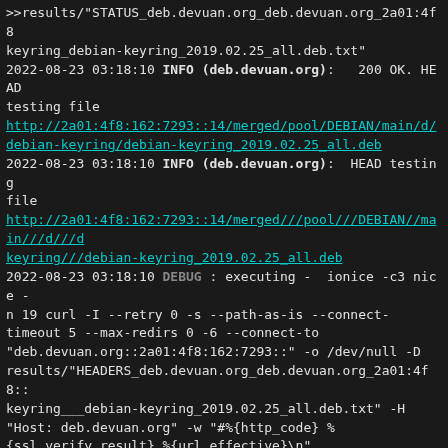>>results/"STATUS_deb.devuan.org_deb.devuan.org_2a01:4f8 keyring_debian-keyring_2019.02.25_all.deb.txt"
2022-08-23 03:18:10 INFO (deb.devuan.org):   200 OK. HEAD testing file
http://2a01:4f8:162:7293::14/merged/pool/DEBIAN/main/d/debian-keyring/debian-keyring_2019.02.25_all.deb
2022-08-23 03:18:10 INFO (deb.devuan.org):  HEAD testing file
http://2a01:4f8:162:7293::14/merged///pool///DEBIAN//main///d///debian-keyring///debian-keyring_2019.02.25_all.deb
2022-08-23 03:18:10 DEBUG : executing -  ionice -c3 nice -n 19 curl -I --retry 0 -s --path-as-is --connect-timeout 5 --max-redirs 0 -6 --connect-to "deb.devuan.org::2a01:4f8:162:7293::" -o /dev/null -D results/"HEADERS_deb.devuan.org_deb.devuan.org_2a01:4f8:: keyring___debian-keyring_2019.02.25_all.deb.txt" -H "Host: deb.devuan.org" -w "#%{http_code} %{ssl_verify_result} %{url_effective}\n" http://deb.devuan.org/merged///pool///DEBIAN//main///d/keyring///debian-keyring_2019.02.25_all.deb >>results/"STATUS_deb.devuan.org_deb.devuan.org_2a01:4f8 keyring___debian-keyring_2019.02.25_all.deb.txt"
2022-08-23 03:18:11 INFO (deb.devuan.org):   200 OK. HEAD testing file
http://2a01:4f8:162:7293::14/merged///pool///DEBIAN//main///d///debian-keyring///debian-keyring_2019.02.25_all.deb
2022-08-23 03:18:11 INFO : Skipping https checks for dl.d...